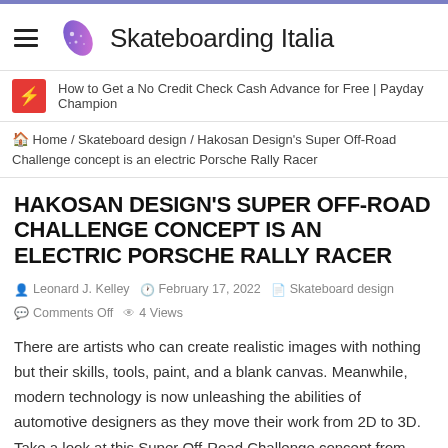Skateboarding Italia
How to Get a No Credit Check Cash Advance for Free | Payday Champion
🏠 Home / Skateboard design / Hakosan Design's Super Off-Road Challenge concept is an electric Porsche Rally Racer
HAKOSAN DESIGN'S SUPER OFF-ROAD CHALLENGE CONCEPT IS AN ELECTRIC PORSCHE RALLY RACER
Leonard J. Kelley   February 17, 2022   Skateboard design   Comments Off   4 Views
There are artists who can create realistic images with nothing but their skills, tools, paint, and a blank canvas. Meanwhile, modern technology is now unleashing the abilities of automotive designers as they move their work from 2D to 3D. Take a look at this Super Off-Road Challenge concept from Hakosan Design. It looks realistic